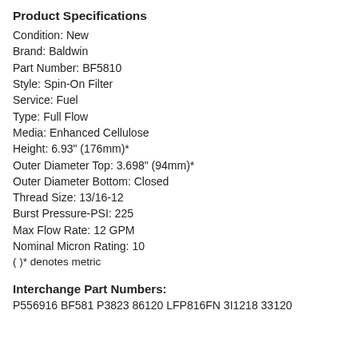Product Specifications
Condition: New
Brand: Baldwin
Part Number: BF5810
Style: Spin-On Filter
Service: Fuel
Type: Full Flow
Media: Enhanced Cellulose
Height: 6.93" (176mm)*
Outer Diameter Top: 3.698" (94mm)*
Outer Diameter Bottom: Closed
Thread Size: 13/16-12
Burst Pressure-PSI: 225
Max Flow Rate: 12 GPM
Nominal Micron Rating: 10
( )* denotes metric
Interchange Part Numbers:
P556916 BF581 P3823 86120 LFP816FN 3I1218 33120